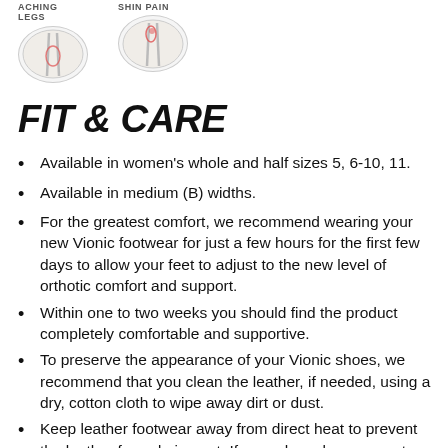[Figure (illustration): Two circular anatomical diagrams at the top of the page. Left diagram labeled 'ACHING LEGS', right diagram labeled 'SHIN PAIN', each showing leg anatomy with highlighted pain areas.]
FIT & CARE
Available in women's whole and half sizes 5, 6-10, 11.
Available in medium (B) widths.
For the greatest comfort, we recommend wearing your new Vionic footwear for just a few hours for the first few days to allow your feet to adjust to the new level of orthotic comfort and support.
Within one to two weeks you should find the product completely comfortable and supportive.
To preserve the appearance of your Vionic shoes, we recommend that you clean the leather, if needed, using a dry, cotton cloth to wipe away dirt or dust.
Keep leather footwear away from direct heat to prevent the leather from drying out. If your shoes become wet,